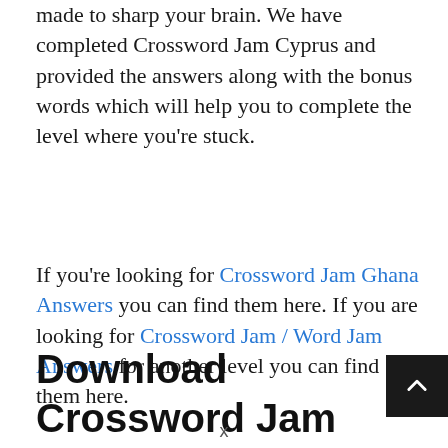made to sharp your brain. We have completed Crossword Jam Cyprus and provided the answers along with the bonus words which will help you to complete the level where you're stuck.
If you're looking for Crossword Jam Ghana Answers you can find them here. If you are looking for Crossword Jam / Word Jam Answers for another level you can find them here.
Download Crossword Jam for Android & iOS